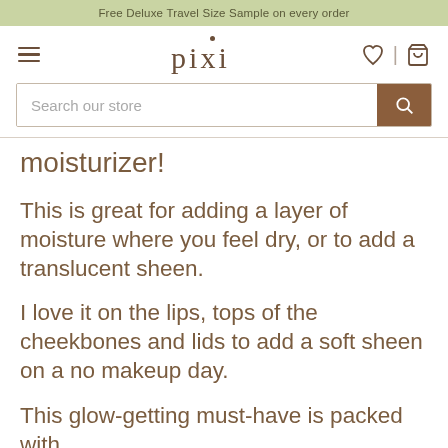Free Deluxe Travel Size Sample on every order
[Figure (logo): Pixi beauty brand logo with hamburger menu, heart icon, and cart icon]
Search our store
moisturizer!
This is great for adding a layer of moisture where you feel dry, or to add a translucent sheen.
I love it on the lips, tops of the cheekbones and lids to add a soft sheen on a no makeup day.
This glow-getting must-have is packed with